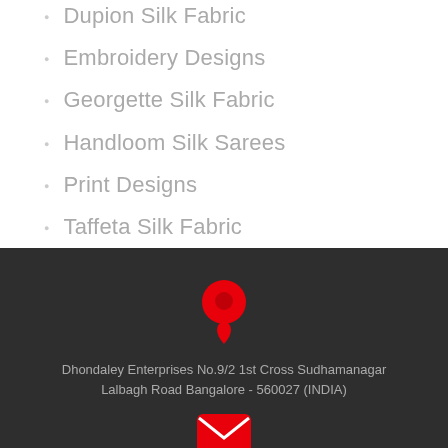Dupion Silk Fabric
Embroidery Designs
Georgette Silk Fabric
Handloom Silk Sarees
Print Designs
Taffeta Silk Fabric
[Figure (infographic): Red map pin location marker icon on dark background]
Dhondaley Enterprises No.9/2 1st Cross Sudhamanagar Lalbagh Road Bangalore - 560027 (INDIA)
[Figure (infographic): Red email/envelope icon on dark background (partially visible at bottom)]